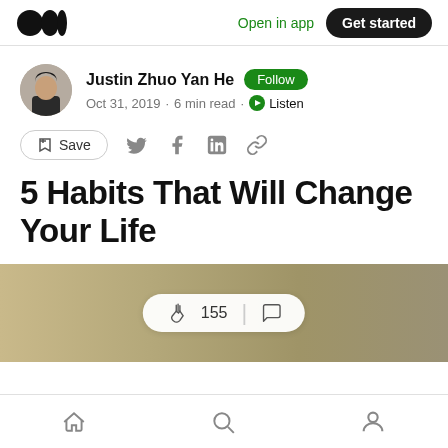Open in app  Get started
Justin Zhuo Yan He  Follow
Oct 31, 2019 · 6 min read · Listen
Save
5 Habits That Will Change Your Life
[Figure (screenshot): Hero image with gradient background and clap/comment bar showing 155 claps]
Home  Search  Profile